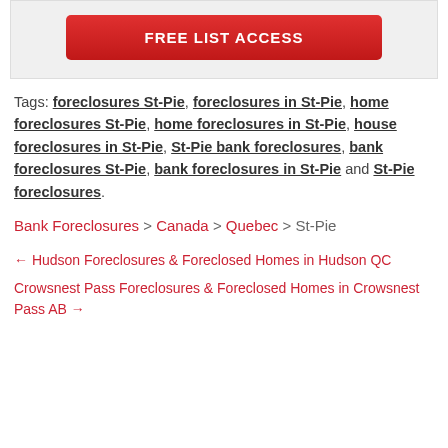[Figure (other): Red button labeled FREE LIST ACCESS on a light gray background]
Tags: foreclosures St-Pie, foreclosures in St-Pie, home foreclosures St-Pie, home foreclosures in St-Pie, house foreclosures in St-Pie, St-Pie bank foreclosures, bank foreclosures St-Pie, bank foreclosures in St-Pie and St-Pie foreclosures.
Bank Foreclosures > Canada > Quebec > St-Pie
← Hudson Foreclosures & Foreclosed Homes in Hudson QC
Crowsnest Pass Foreclosures & Foreclosed Homes in Crowsnest Pass AB →